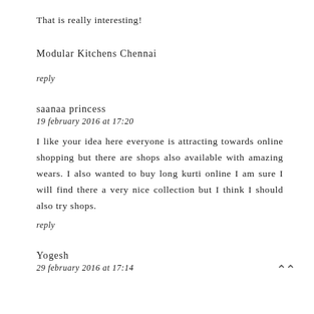That is really interesting!
Modular Kitchens Chennai
reply
saanaa princess
19 february 2016 at 17:20
I like your idea here everyone is attracting towards online shopping but there are shops also available with amazing wears. I also wanted to buy long kurti online I am sure I will find there a very nice collection but I think I should also try shops.
reply
Yogesh
29 february 2016 at 17:14